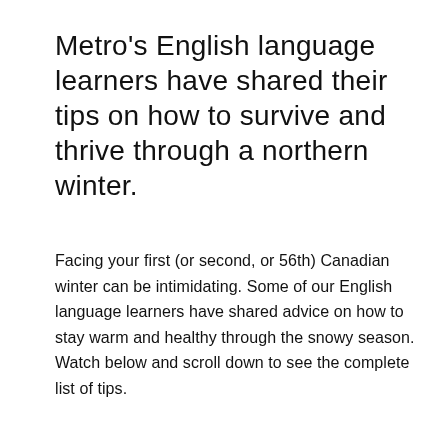Metro's English language learners have shared their tips on how to survive and thrive through a northern winter.
Facing your first (or second, or 56th) Canadian winter can be intimidating. Some of our English language learners have shared advice on how to stay warm and healthy through the snowy season. Watch below and scroll down to see the complete list of tips.